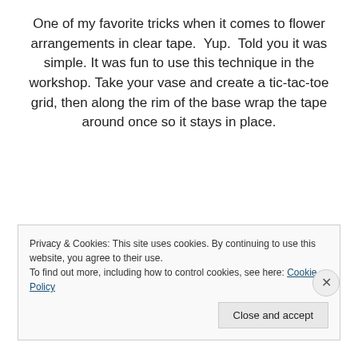One of my favorite tricks when it comes to flower arrangements in clear tape.  Yup.  Told you it was simple.  It was fun to use this technique in the workshop. Take your vase and create a tic-tac-toe grid, then along the rim of the base wrap the tape around once so it stays in place.
[Figure (photo): Broken image placeholder with alt text IMG_2076]
Privacy & Cookies: This site uses cookies. By continuing to use this website, you agree to their use.
To find out more, including how to control cookies, see here: Cookie Policy
Close and accept